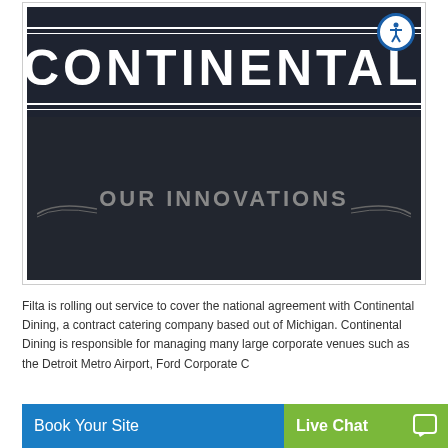[Figure (screenshot): Continental Dining banner image showing 'CONTINENTAL' text in white on dark background with 'OUR INNOVATIONS' subtitle and accessibility icon in top right]
Filta is rolling out service to cover the national agreement with Continental Dining, a contract catering company based out of Michigan. Continental Dining is responsible for managing many large corporate venues such as the Detroit Metro Airport, Ford Corporate C
Book Your Site
Live Chat